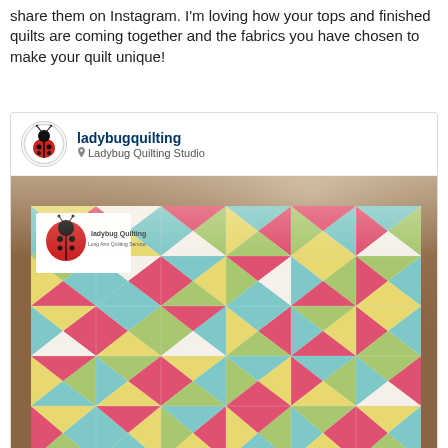share them on Instagram. I'm loving how your tops and finished quilts are coming together and the fabrics you have chosen to make your quilt unique!
[Figure (screenshot): Instagram post by ladybugquilting at Ladybug Quilting Studio, showing a finished patchwork quilt with tumbling star blocks in pink, aqua, yellow, and white fabrics laid out on a wooden floor.]